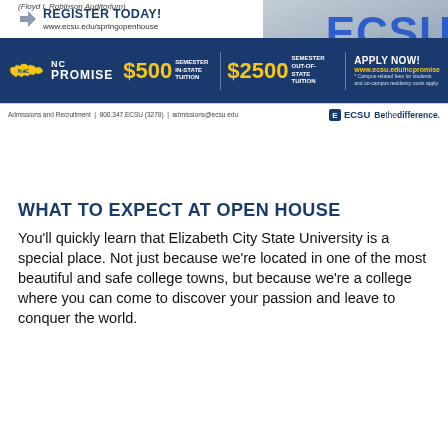[Figure (infographic): ECSU Spring Open House advertisement banner showing NC Promise tuition ($500 in-state, $2500 out-of-state), register today call to action at www.ecsu.edu/springopenhouse, apply now at www.ecsu.edu/ncpromise, with ECSU branding and Be the difference tagline. Footer: Admissions and Recruitment | 800.347.ECSU (3278) | admissions@ecsu.edu]
WHAT TO EXPECT AT OPEN HOUSE
You'll quickly learn that Elizabeth City State University is a special place. Not just because we're located in one of the most beautiful and safe college towns, but because we're a college where you can come to discover your passion and leave to conquer the world.